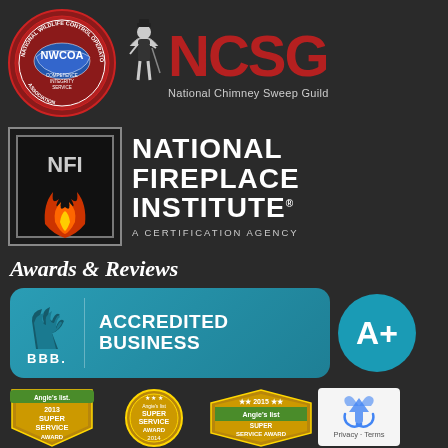[Figure (logo): NWCOA National Wildlife Control Operators Association circular badge with map of USA, red border, text COMPETENCE INTEGRITY SERVICE]
[Figure (logo): NCSG National Chimney Sweep Guild logo with chimney sweep figure and large red NCSG letters]
[Figure (logo): NFI National Fireplace Institute certification agency logo with flame graphic in bordered box and bold white text]
Awards & Reviews
[Figure (logo): BBB Accredited Business badge in teal with BBB logo and ACCREDITED BUSINESS text, plus A+ circle rating]
[Figure (logo): Angie's List 2013 Super Service Award gold shield badge]
[Figure (logo): Angie's List Super Service Award 2014 gold medallion badge]
[Figure (logo): Angie's List 2015 Super Service Award badge in gold and green]
[Figure (logo): Google reCAPTCHA widget with Privacy and Terms text]